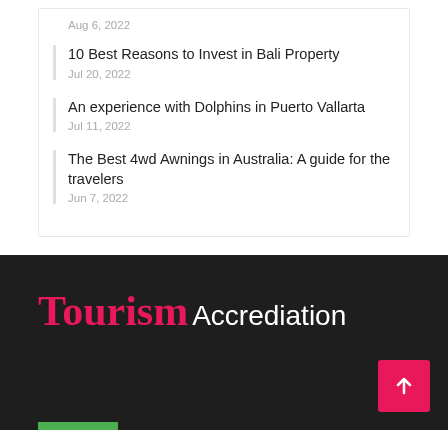Aug 6, 2022
10 Best Reasons to Invest in Bali Property
Jul 20, 2022
An experience with Dolphins in Puerto Vallarta
Jul 11, 2022
The Best 4wd Awnings in Australia: A guide for the travelers
Jun 7, 2022
Tourism Accrediation